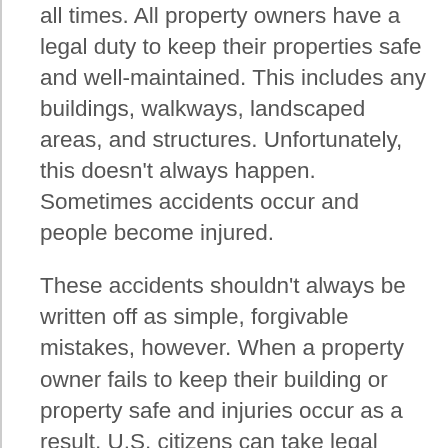all times. All property owners have a legal duty to keep their properties safe and well-maintained. This includes any buildings, walkways, landscaped areas, and structures. Unfortunately, this doesn't always happen. Sometimes accidents occur and people become injured.
These accidents shouldn't always be written off as simple, forgivable mistakes, however. When a property owner fails to keep their building or property safe and injuries occur as a result, U.S. citizens can take legal action against the property owner to ensure that they get the help they need to recover from their injuries. In doing so, the property owner also learns about the importance of building and property upkeep.
Cases like this are part of a legal branch we refer to as premises liability law. When accidents